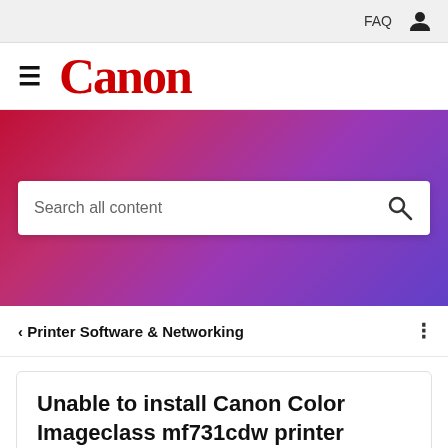FAQ
[Figure (logo): Canon logo with hamburger menu icon]
[Figure (other): Hero gradient banner with search bar reading 'Search all content']
< Printer Software & Networking
Unable to install Canon Color Imageclass mf731cdw printer software